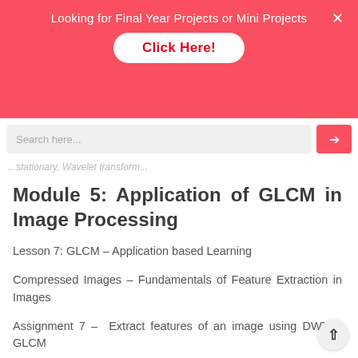[Figure (screenshot): Red banner with text 'Looking for Final Year Projects or Mini Projects' and a white pill-shaped button labeled 'Click Here!' in red, with a close X in the top right]
Search here...
...stationary, Wavelet transform...
Module 5: Application of GLCM in Image Processing
Lesson 7: GLCM – Application based Learning
Compressed Images – Fundamentals of Feature Extraction in Images
Assignment 7 –  Extract features of an image using DWT & GLCM